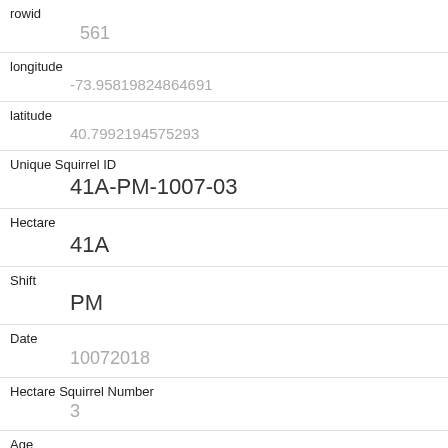| Field | Value |
| --- | --- |
| rowid | 561 |
| longitude | -73.95819824864691 |
| latitude | 40.7992194575293 |
| Unique Squirrel ID | 41A-PM-1007-03 |
| Hectare | 41A |
| Shift | PM |
| Date | 10072018 |
| Hectare Squirrel Number | 3 |
| Age | Adult |
| Primary Fur Color | Gray |
| Highlight Fur Color |  |